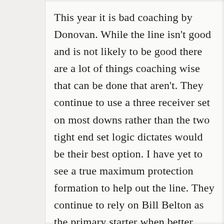This year it is bad coaching by Donovan. While the line isn't good and is not likely to be good there are a lot of things coaching wise that can be done that aren't. They continue to use a three receiver set on most downs rather than the two tight end set logic dictates would be their best option. I have yet to see a true maximum protection formation to help out the line. They continue to rely on Bill Belton as the primary starter when better options are available. Belton shows no vision